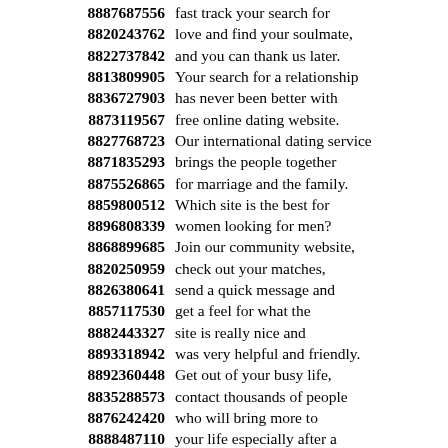8887687556 fast track your search for
8820243762 love and find your soulmate,
8822737842 and you can thank us later.
8813809905 Your search for a relationship
8836727903 has never been better with
8873119567 free online dating website.
8827768723 Our international dating service
8871835293 brings the people together
8875526865 for marriage and the family.
8859800512 Which site is the best for
8896808339 women looking for men?
8868899685 Join our community website,
8820250959 check out your matches,
8826380641 send a quick message and
8857117530 get a feel for what the
8882443327 site is really nice and
8893318942 was very helpful and friendly.
8892360448 Get out of your busy life,
8835288573 contact thousands of people
8876242420 who will bring more to
8888487110 your life especially after a
8884245906 busy time at the office!
8861772255 Browse thousands of profiles
8836508672 of single men and women!
8876299953 Find out how to start the
8828039861 dating with the help of a